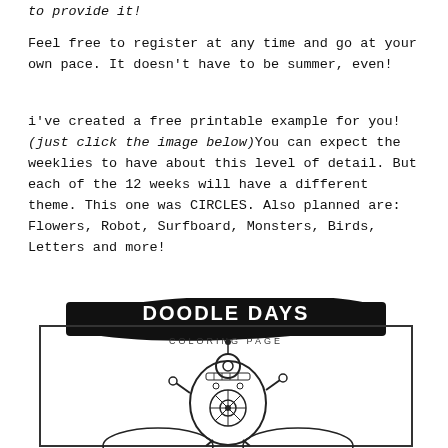to provide it!
Feel free to register at any time and go at your own pace. It doesn't have to be summer, even!
i've created a free printable example for you! (just click the image below) You can expect the weeklies to have about this level of detail. But each of the 12 weeks will have a different theme. This one was CIRCLES. Also planned are: Flowers, Robot, Surfboard, Monsters, Birds, Letters and more!
[Figure (illustration): Doodle Days Coloring Page banner with a black brushstroke background showing 'DOODLE DAYS COLORING PAGE' text, with a partial view of a doodle illustration featuring a robot-like figure with circles below]